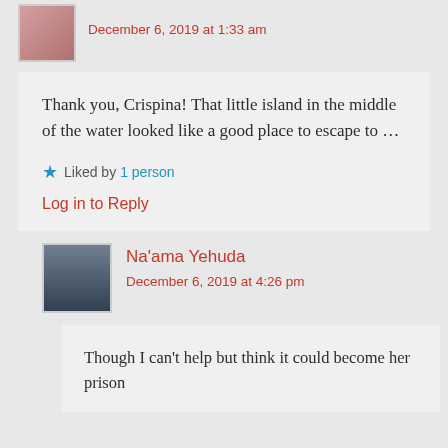December 6, 2019 at 1:33 am
Thank you, Crispina! That little island in the middle of the water looked like a good place to escape to …
★ Liked by 1 person
Log in to Reply
Na'ama Yehuda
December 6, 2019 at 4:26 pm
Though I can't help but think it could become her prison